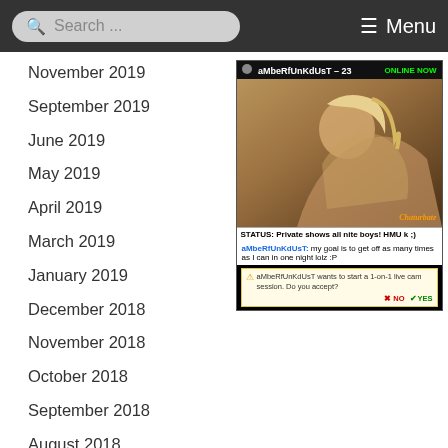Search ... Menu
November 2019
September 2019
June 2019
May 2019
April 2019
March 2019
January 2019
December 2018
November 2018
October 2018
September 2018
August 2018
July 2018
June 2018
May 2018
April 2018
[Figure (screenshot): Chaturbate live cam widget showing user aMbeRfUnKdUsT - 23, ONLINE NOW, with photo, status message 'Private shows all nite boys! HMU k ;)', chat message, and a 1-on-1 session invite prompt with NO/YES buttons.]